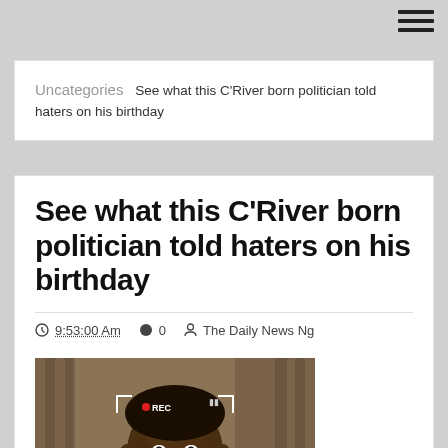☰ (hamburger menu)
Uncategories  See what this C'River born politician told haters on his birthday
See what this C'River born politician told haters on his birthday
9:53:00 Am  0  The Daily News Ng
[Figure (photo): A man in a light blue shirt seated in a red patterned chair, photographed with a camera overlay (REC indicator, viewfinder corners), indoor setting with curtains in background.]